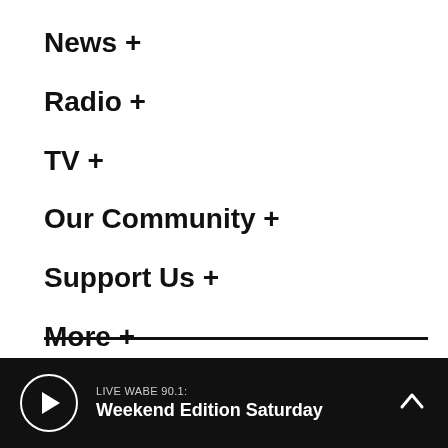News +
Radio +
TV +
Our Community +
Support Us +
More +
LIVE WABE 90.1: Weekend Edition Saturday